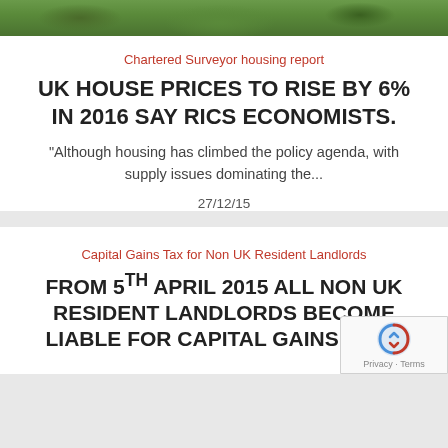[Figure (photo): Green landscape/garden hedge photo strip at top of page]
Chartered Surveyor housing report
UK HOUSE PRICES TO RISE BY 6% IN 2016 SAY RICS ECONOMISTS.
"Although housing has climbed the policy agenda, with supply issues dominating the...
27/12/15
Capital Gains Tax for Non UK Resident Landlords
FROM 5TH APRIL 2015 ALL NON UK RESIDENT LANDLORDS BECOME LIABLE FOR CAPITAL GAINS TAX...